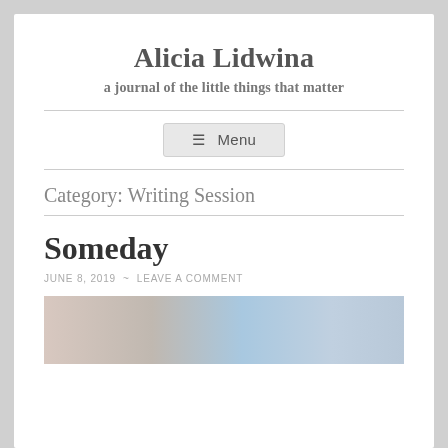Alicia Lidwina
a journal of the little things that matter
≡ Menu
Category: Writing Session
Someday
JUNE 8, 2019 ~ LEAVE A COMMENT
[Figure (photo): Featured image at bottom of page, partially visible, showing cloudy sky scene]